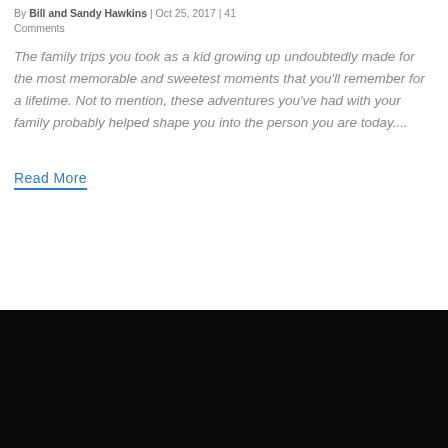By Bill and Sandy Hawkins | Oct 25, 2017 | 41 Comments
The family trips you took as a kid growing up undoubtedly made for the most memorable and sweetest moments that you'll remember for a lifetime. Not to mention, these adventures you've had with your family probably helped shape you into the person you are today....
Read More